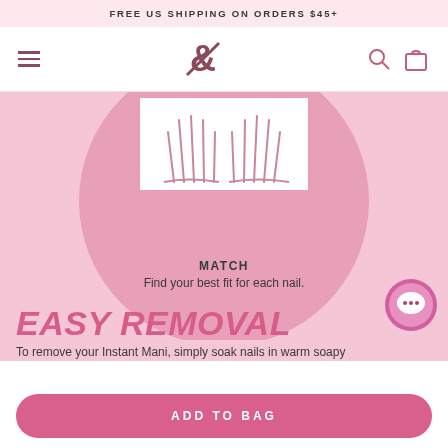FREE US SHIPPING ON ORDERS $45+
[Figure (screenshot): Navigation bar with hamburger menu, ampersand logo, search icon, and shopping bag icon]
[Figure (illustration): Large pink circle with white box showing outline illustration of two hands with nails spread]
MATCH
Find your best fit for each nail.
EASY REMOVAL
To remove your Instant Mani, simply soak nails in warm soapy